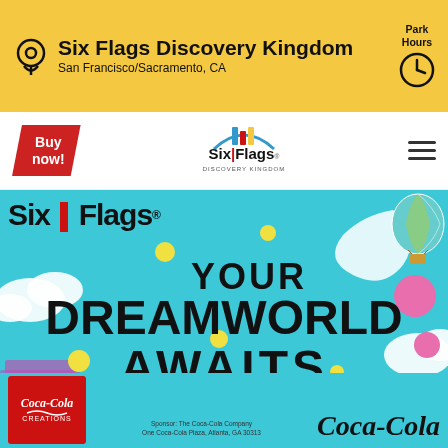Six Flags Discovery Kingdom
San Francisco/Sacramento, CA
Park Hours
[Figure (screenshot): Six Flags Discovery Kingdom website screenshot with yellow header bar showing location icon, park name, and clock icon for Park Hours; navigation bar with Buy now! button, Six Flags Discovery Kingdom logo, and hamburger menu; hero image on cyan/turquoise background with Six Flags logo, text YOUR DREAMWORLD AWAITS, pink Visit The Event Page For More Details button, decorative clouds, colorful dots, hot air balloon, white swirl, and Coca-Cola sponsorship at the bottom]
YOUR DREAMWORLD AWAITS
VISIT THE EVENT PAGE FOR MORE DETAILS
Sponsor: The Coca-Cola Company
One Coca-Cola Plaza, Atlanta, GA 30313